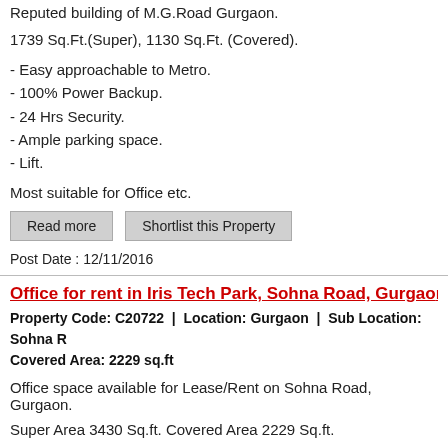Reputed building of M.G.Road Gurgaon.
1739 Sq.Ft.(Super), 1130 Sq.Ft. (Covered).
- Easy approachable to Metro.
- 100% Power Backup.
- 24 Hrs Security.
- Ample parking space.
- Lift.
Most suitable for Office etc.
Post Date : 12/11/2016
Office for rent in Iris Tech Park, Sohna Road, Gurgaon
Property Code: C20722  |  Location: Gurgaon  |  Sub Location: Sohna Road  Covered Area: 2229 sq.ft
Office space available for Lease/Rent on Sohna Road, Gurgaon.
Super Area 3430 Sq.ft. Covered Area 2229 Sq.ft.
Centrally Air Conditioned.
24 Hrs Security.